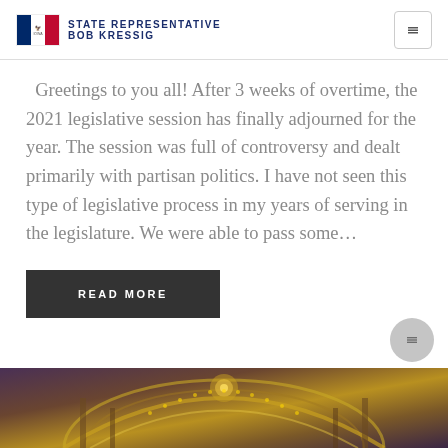STATE REPRESENTATIVE BOB KRESSIG
Greetings to you all! After 3 weeks of overtime, the 2021 legislative session has finally adjourned for the year. The session was full of controversy and dealt primarily with partisan politics. I have not seen this type of legislative process in my years of serving in the legislature. We were able to pass some…
READ MORE
[Figure (photo): Photo of a domed government building interior with ornate gold details and purple/brown tones]